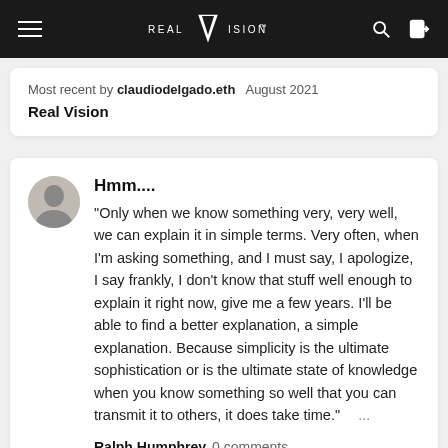REAL VISION™
Most recent by claudiodelgado.eth   August 2021
Real Vision
Hmm....
"Only when we know something very, very well, we can explain it in simple terms. Very often, when I'm asking something, and I must say, I apologize, I say frankly, I don't know that stuff well enough to explain it right now, give me a few years. I'll be able to find a better explanation, a simple explanation. Because simplicity is the ultimate sophistication or is the ultimate state of knowledge when you know something so well that you can transmit it to others, it does take time."   ...
Ralph Humphrey   0 comments